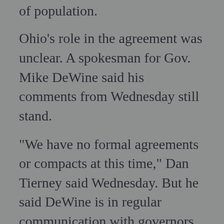of population.
Ohio's role in the agreement was unclear. A spokesman for Gov. Mike DeWine said his comments from Wednesday still stand.
“We have no formal agreements or compacts at this time,” Dan Tierney said Wednesday. But he said DeWine is in regular communication with governors of surrounding states to share information, strategy and resources. That included a three-way phone call with the governors of Kentucky and Indiana and a text exchange with Michigan Gov. Gretchen Whitmer.
Related
It took 13 days for the